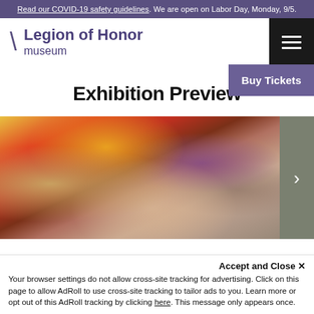Read our COVID-19 safety guidelines. We are open on Labor Day, Monday, 9/5.
[Figure (logo): Legion of Honor museum logo with backslash and purple text]
Buy Tickets
Exhibition Preview
[Figure (photo): Impressionist painting showing a figure with warm orange, red and yellow background tones, with a slider arrow on the right side]
Accept and Close ✕
Your browser settings do not allow cross-site tracking for advertising. Click on this page to allow AdRoll to use cross-site tracking to tailor ads to you. Learn more or opt out of this AdRoll tracking by clicking here. This message only appears once.